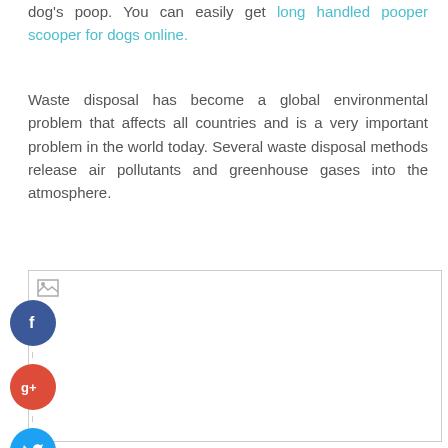dog's poop. You can easily get long handled pooper scooper for dogs online.
Waste disposal has become a global environmental problem that affects all countries and is a very important problem in the world today. Several waste disposal methods release air pollutants and greenhouse gases into the atmosphere.
[Figure (screenshot): A bordered image box with a broken image icon in the top left, and social media share buttons (Facebook, Google+, Twitter, Add This) displayed vertically on the left side.]